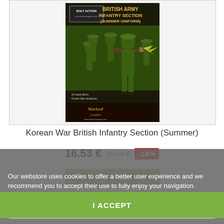[Figure (illustration): Product box art for Warlord Games Bolt Action British Army Infantry Section (Summer Uniform) Korean War miniatures set, showing soldiers in green summer uniforms with weapons.]
Korean War British Infantry Section (Summer)
16.53 € 20.16 € -18%
Add to cart
Our webstore uses cookies to offer a better user experience and we recommend you to accept their use to fully enjoy your navigation.
More information   customize cookies
I ACCEPT